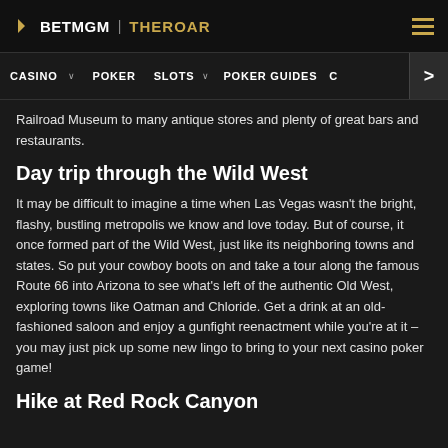BETMGM | THE ROAR
CASINO | POKER | SLOTS | POKER GUIDES | C | >
Railroad Museum to many antique stores and plenty of great bars and restaurants.
Day trip through the Wild West
It may be difficult to imagine a time when Las Vegas wasn't the bright, flashy, bustling metropolis we know and love today. But of course, it once formed part of the Wild West, just like its neighboring towns and states. So put your cowboy boots on and take a tour along the famous Route 66 into Arizona to see what's left of the authentic Old West, exploring towns like Oatman and Chloride. Get a drink at an old-fashioned saloon and enjoy a gunfight reenactment while you're at it – you may just pick up some new lingo to bring to your next casino poker game!
Hike at Red Rock Canyon